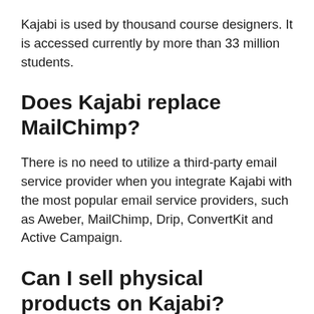Kajabi is used by thousand course designers. It is accessed currently by more than 33 million students.
Does Kajabi replace MailChimp?
There is no need to utilize a third-party email service provider when you integrate Kajabi with the most popular email service providers, such as Aweber, MailChimp, Drip, ConvertKit and Active Campaign.
Can I sell physical products on Kajabi?